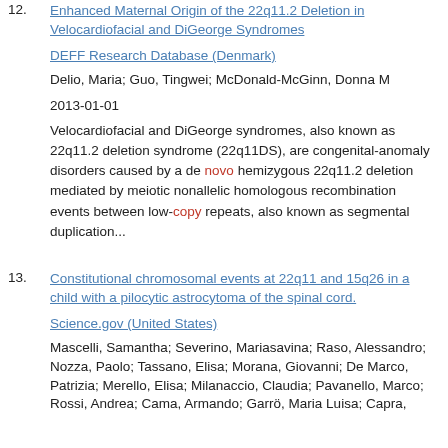12. Enhanced Maternal Origin of the 22q11.2 Deletion in Velocardiofacial and DiGeorge Syndromes
DEFF Research Database (Denmark)
Delio, Maria; Guo, Tingwei; McDonald-McGinn, Donna M
2013-01-01
Velocardiofacial and DiGeorge syndromes, also known as 22q11.2 deletion syndrome (22q11DS), are congenital-anomaly disorders caused by a de novo hemizygous 22q11.2 deletion mediated by meiotic nonallelic homologous recombination events between low-copy repeats, also known as segmental duplication...
13. Constitutional chromosomal events at 22q11 and 15q26 in a child with a pilocytic astrocytoma of the spinal cord.
Science.gov (United States)
Mascelli, Samantha; Severino, Mariasavina; Raso, Alessandro; Nozza, Paolo; Tassano, Elisa; Morana, Giovanni; De Marco, Patrizia; Merello, Elisa; Milanaccio, Claudia; Pavanello, Marco; Rossi, Andrea; Cama, Armando; Garrö, Maria Luisa; Capra,